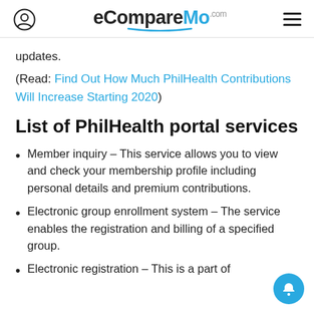eCompareMo.com
updates.
(Read: Find Out How Much PhilHealth Contributions Will Increase Starting 2020)
List of PhilHealth portal services
Member inquiry – This service allows you to view and check your membership profile including personal details and premium contributions.
Electronic group enrollment system – The service enables the registration and billing of a specified group.
Electronic registration – This is a part of...